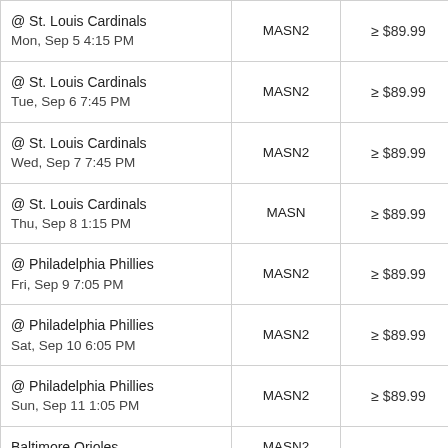| Game | Network | Price | Select |
| --- | --- | --- | --- |
| @ St. Louis Cardinals
Mon, Sep 5 4:15 PM | MASN2 | ≥ $89.99 | ○ |
| @ St. Louis Cardinals
Tue, Sep 6 7:45 PM | MASN2 | ≥ $89.99 | ○ |
| @ St. Louis Cardinals
Wed, Sep 7 7:45 PM | MASN2 | ≥ $89.99 | ○ |
| @ St. Louis Cardinals
Thu, Sep 8 1:15 PM | MASN | ≥ $89.99 | ○ |
| @ Philadelphia Phillies
Fri, Sep 9 7:05 PM | MASN2 | ≥ $89.99 | ○ |
| @ Philadelphia Phillies
Sat, Sep 10 6:05 PM | MASN2 | ≥ $89.99 | ○ |
| @ Philadelphia Phillies
Sun, Sep 11 1:05 PM | MASN2 | ≥ $89.99 | ○ |
| Baltimore Orioles
Tue, Sep 13 7:05 PM | MASN2
MASN | ≥ $89.99 | ○ |
| Baltimore Orioles (partial) | MASN2 |  |  |